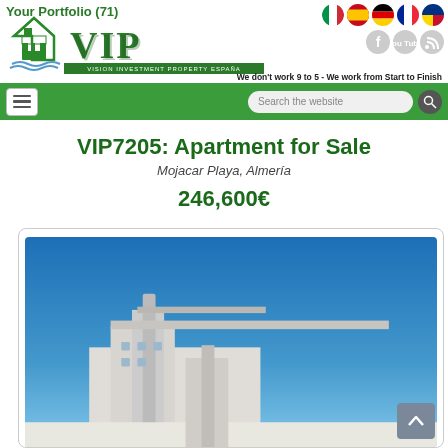Your Portfolio (71)
[Figure (logo): VIP - Vision Investment Property España logo with house icon and green text]
We don't work 9 to 5 - We work from Start to Finish
VIP7205: Apartment for Sale
Mojacar Playa, Almería
246,600€
[Figure (photo): Exterior photo of apartment building with blue sky, white modern architecture, showing rooftop and upper floors]